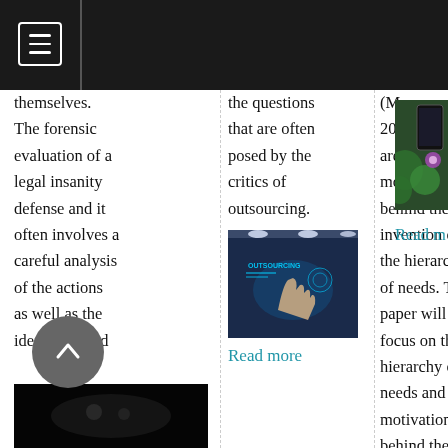Navigation bar with hamburger menu
themselves. The forensic evaluation of a legal insanity defense and it often involves a careful analysis of the actions as well as the ideas that lead up to the crime and it coordinating with several witness statements.
the questions that are often posed by the critics of outsourcing.
[Figure (photo): Technology/outsourcing concept photo showing a hand interacting with digital holographic interface with 'OUTSOURCING' text]
Read more
(Myers, 2004). There are different motivations behind the invention of the hierarchy of needs. This paper will focus on the hierarchy of needs and the motivation behind the development of the hierarchical representation
[Figure (photo): Partial photo showing a smartphone with green foliage/flowers in background]
Read m
[Figure (photo): Dark image at bottom left, partially visible]